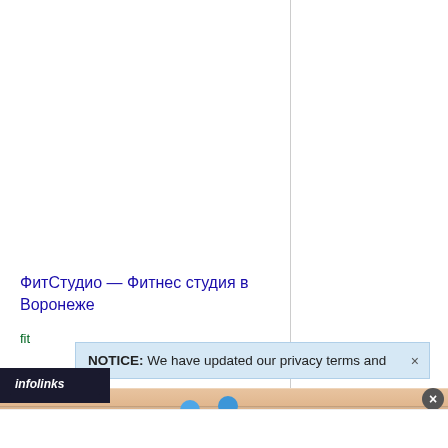ФитСтудио — Фитнес студия в Воронеже
fit...
NOTICE: We have updated our privacy terms and
[Figure (screenshot): Infolinks bar overlay at bottom left]
[Figure (illustration): Hold and Move game advertisement banner with blue cartoon figures on a wooden background and the text 'Hold and Move']